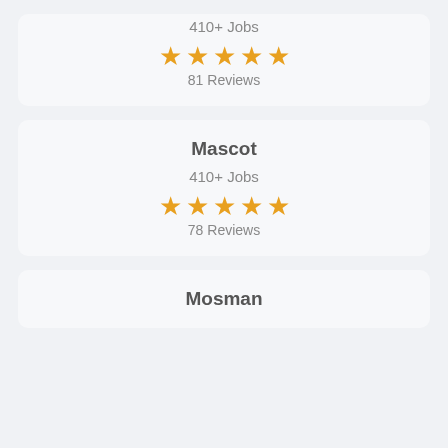410+ Jobs
[Figure (other): 5 orange stars rating]
81 Reviews
Mascot
410+ Jobs
[Figure (other): 5 orange stars rating]
78 Reviews
Mosman